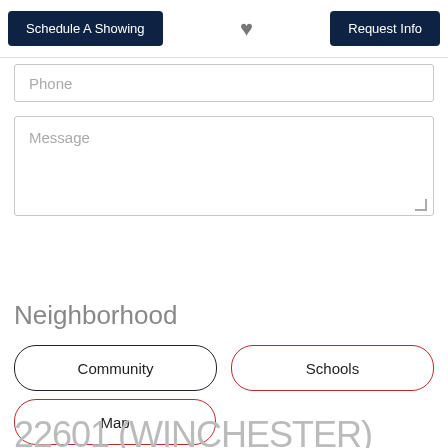Schedule A Showing | Request Info
Phone
Message
Contact
Neighborhood
Community
Schools
Map
22601 (WINCHESTER)